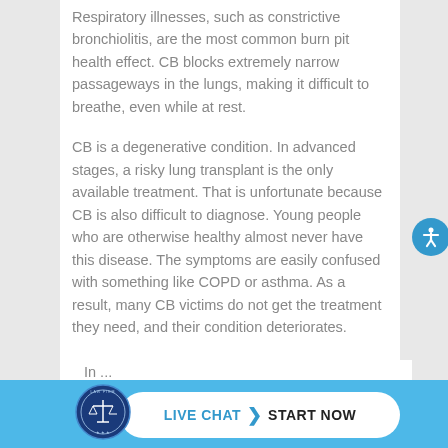Respiratory illnesses, such as constrictive bronchiolitis, are the most common burn pit health effect. CB blocks extremely narrow passageways in the lungs, making it difficult to breathe, even while at rest.
CB is a degenerative condition. In advanced stages, a risky lung transplant is the only available treatment. That is unfortunate because CB is also difficult to diagnose. Young people who are otherwise healthy almost never have this disease. The symptoms are easily confused with something like COPD or asthma. As a result, many CB victims do not get the treatment they need, and their condition deteriorates.
[Figure (logo): Circular blue seal/logo with scales of justice and text around the border]
LIVE CHAT  >  START NOW